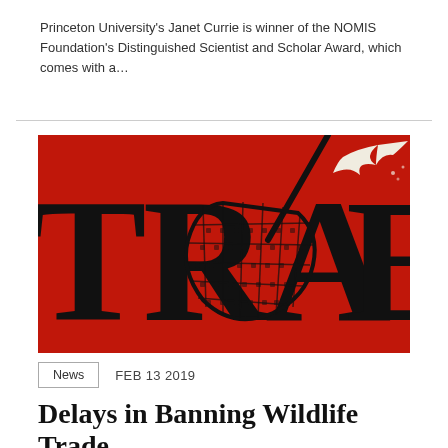Princeton University's Janet Currie is winner of the NOMIS Foundation's Distinguished Scientist and Scholar Award, which comes with a...
[Figure (illustration): Red background illustration showing the word 'TRADE' in large black letters with a black catching net swinging over the letters, and a white bird/dove flying away to the upper right.]
News   FEB 13 2019
Delays in Banning Wildlife Trade